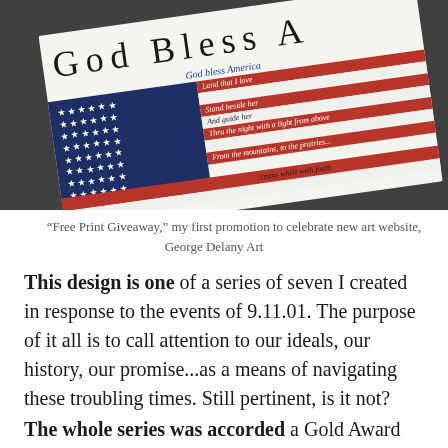[Figure (photo): A photograph of hands holding a printed poster of 'God Bless America' featuring an American flag with lyrics to the song written across the stripes.]
“Free Print Giveaway,” my first promotion to celebrate new art website, George Delany Art
This design is one of a series of seven I created in response to the events of 9.11.01. The purpose of it all is to call attention to our ideals, our history, our promise...as a means of navigating these troubling times. Still pertinent, is it not?
The whole series was accorded a Gold Award by Graphic Poster Annual. Later the collection was added